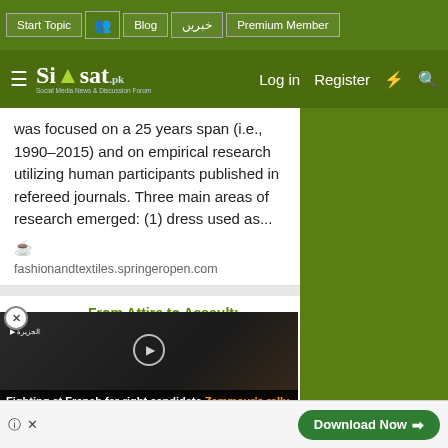Start Topic | Blog | خبریں | Premium Member | Log in | Register
[Figure (logo): Siasat.pk - Social Media News & Discussion Forum logo]
was focused on a 25 years span (i.e., 1990–2015) and on empirical research utilizing human participants published in refereed journals. Three main areas of research emerged: (1) dress used as...
fashionandtextiles.springeropen.com
From Attire to Assault: Clot...
In the context of objectification and s been paid ence of eives
[Figure (screenshot): Video overlay showing Al Jazeera news thumbnail of French far-right candidate Zemmour rally with play button]
Fighting at French far-right candidate Zemmour's rally
yoff
[Figure (infographic): Download Now advertisement button with help and close icons]